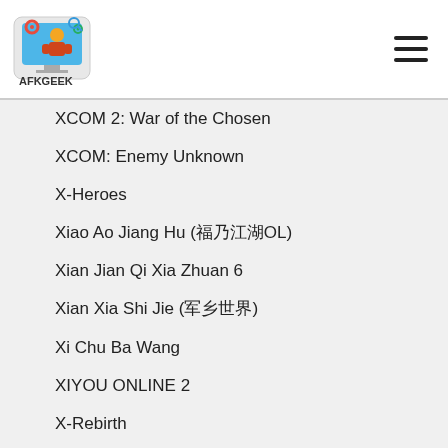AFKGEEK
XCOM 2: War of the Chosen
XCOM: Enemy Unknown
X-Heroes
Xiao Ao Jiang Hu (笑傲江湖OL)
Xian Jian Qi Xia Zhuan 6
Xian Xia Shi Jie (仙侠世界)
Xi Chu Ba Wang
XIYOU ONLINE 2
X-Rebirth
Xuan Yuan Jian Wai Zhuan: Qiong Zhi Fei
Xuan-Yuan Sword VII
Xun Xian
Y
Yakuza 0
Yakuza 3 Remastered
Yakuza Kiwami 2